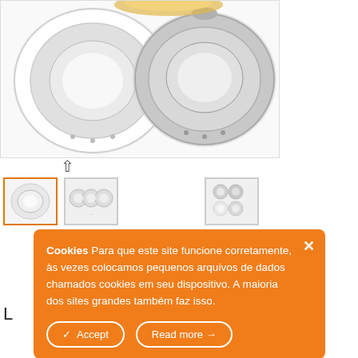[Figure (photo): Two circular LED downlight panels — one white frame, one silver/chrome frame — shown from above on white background]
[Figure (photo): Thumbnail gallery row with three product thumbnails: selected thumbnail (gold border) showing single panel, center thumbnail showing three panels, right thumbnail showing grid of panels in different colors]
Cookies Para que este site funcione corretamente, às vezes colocamos pequenos arquivos de dados chamados cookies em seu dispositivo. A maioria dos sites grandes também faz isso.
Accept
Read more →
L embutida,
o